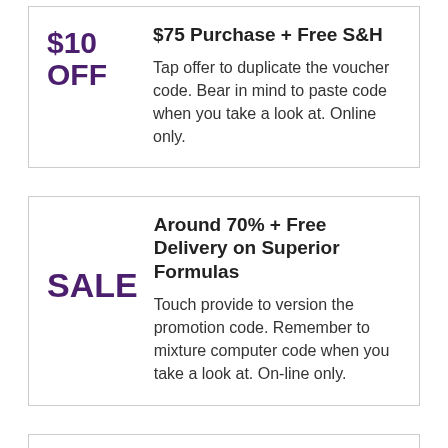$10 OFF
$75 Purchase + Free S&H
Tap offer to duplicate the voucher code. Bear in mind to paste code when you take a look at. Online only.
SALE
Around 70% + Free Delivery on Superior Formulas
Touch provide to version the promotion code. Remember to mixture computer code when you take a look at. On-line only.
Special Offer! 4% Cash Back